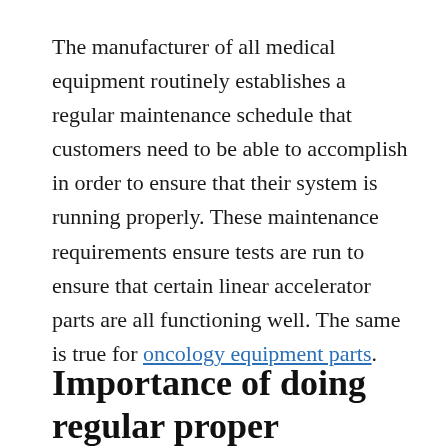The manufacturer of all medical equipment routinely establishes a regular maintenance schedule that customers need to be able to accomplish in order to ensure that their system is running properly. These maintenance requirements ensure tests are run to ensure that certain linear accelerator parts are all functioning well. The same is true for oncology equipment parts.
Importance of doing regular proper